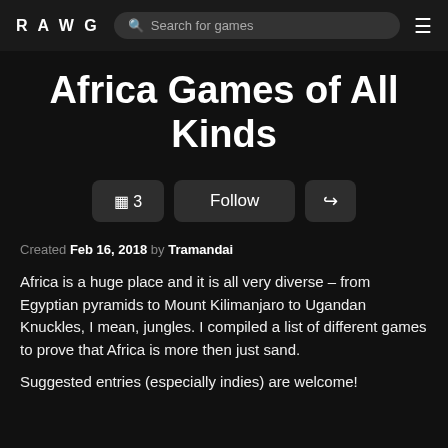RAWG | Search for games
Africa Games of All Kinds
🖼 3  Follow  ↪
Created Feb 16, 2018 by Tramandai
Africa is a huge place and it is all very diverse – from Egyptian pyramids to Mount Kilimanjaro to Ugandan Knuckles, I mean, jungles. I compiled a list of different games to prove that Africa is more then just sand.

Suggested entries (especially indies) are welcome!